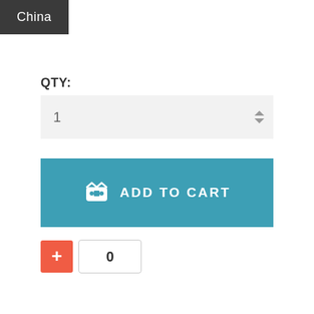China
QTY:
[Figure (screenshot): Quantity input field showing value 1 with up/down arrows on the right, on a light gray background]
[Figure (screenshot): Teal Add to Cart button with shopping basket icon and text ADD TO CART]
[Figure (screenshot): Red plus button and a count box showing 0]
DESCRIPTION
General Use: Outdoor Furniture
Age Group: Adults